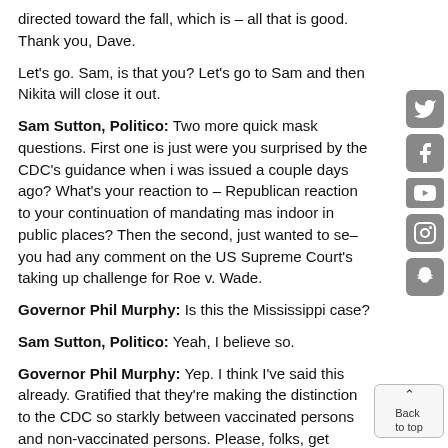directed toward the fall, which is – all that is good. Thank you, Dave.
Let's go. Sam, is that you? Let's go to Sam and then Nikita will close it out.
Sam Sutton, Politico: Two more quick mask questions. First one is just were you surprised by the CDC's guidance when i was issued a couple days ago? What's your reaction to – Republican reaction to your continuation of mandating mas indoor in public places? Then the second, just wanted to se– you had any comment on the US Supreme Court's taking up challenge for Roe v. Wade.
Governor Phil Murphy: Is this the Mississippi case?
Sam Sutton, Politico: Yeah, I believe so.
Governor Phil Murphy: Yep. I think I've said this already. Gratified that they're making the distinction to the CDC so starkly between vaccinated persons and non-vaccinated persons. Please, folks, get vaccinated. I think I alluded to this in the questions – one of the questions that Dave asked. I had expected the six-foot relaxation was going to come firs was a poll of epidemiologists, Christina. I'm not sure if were polled or not, but it was highlighted in the – this is important – this is a serious point, but I hope you were